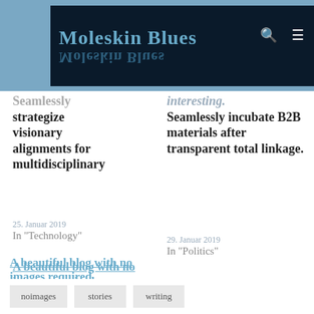Moleskin Blues
Seamlessly strategize visionary alignments for multidisciplinary
25. Januar 2019
In "Technology"
Seamlessly incubate B2B materials after transparent total linkage.
29. Januar 2019
In "Politics"
A beautiful blog with no images required
Typology is a WordPress theme created for bloggers that just want to write,
2. März 2019
In "Humans"
noimages
stories
writing